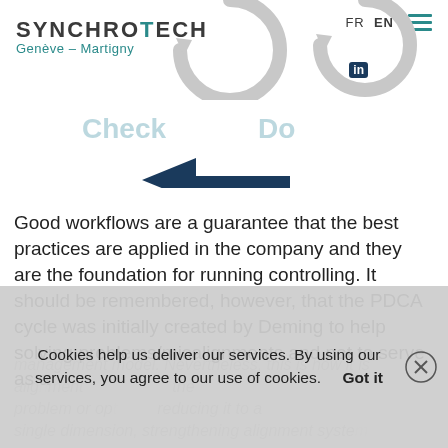SYNCHROTECH Genève – Martigny
[Figure (infographic): PDCA cycle circular arrows diagram with Check and Do labels and a left-pointing dark blue arrow in the center]
Good workflows are a guarantee that the best practices are applied in the company and they are the foundation for running controlling. It should be remembered, however, that the PDCA cycle was initially created by Deming to help solving problems/misalignments and not to serve as a
management model. Nevertheless, this is how it is ... alignment ... the problem or op... reducing it to a single dimension, strengthening alignment system
Cookies help us deliver our services. By using our services, you agree to our use of cookies.    Got it